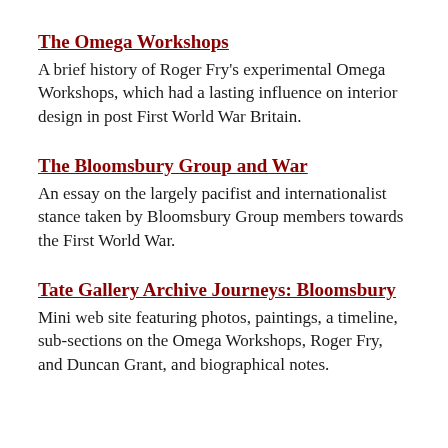The Omega Workshops
A brief history of Roger Fry's experimental Omega Workshops, which had a lasting influence on interior design in post First World War Britain.
The Bloomsbury Group and War
An essay on the largely pacifist and internationalist stance taken by Bloomsbury Group members towards the First World War.
Tate Gallery Archive Journeys: Bloomsbury
Mini web site featuring photos, paintings, a timeline, sub-sections on the Omega Workshops, Roger Fry, and Duncan Grant, and biographical notes.